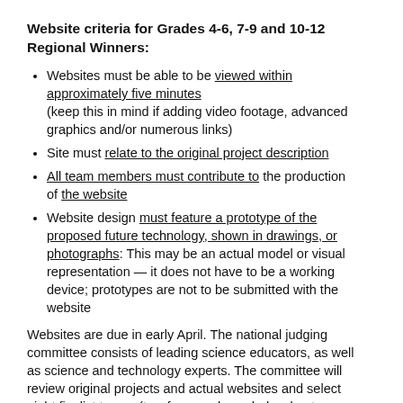Website criteria for Grades 4-6, 7-9 and 10-12 Regional Winners:
Websites must be able to be viewed within approximately five minutes (keep this in mind if adding video footage, advanced graphics and/or numerous links)
Site must relate to the original project description
All team members must contribute to the production of the website
Website design must feature a prototype of the proposed future technology, shown in drawings, or photographs: This may be an actual model or visual representation — it does not have to be a working device; prototypes are not to be submitted with the website
Websites are due in early April. The national judging committee consists of leading science educators, as well as science and technology experts. The committee will review original projects and actual websites and select eight finalist teams (two from each grade-level entry category). The eight finalist teams will be notified in early May.